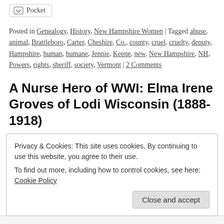[Figure (other): Pocket save button with bookmark icon]
Posted in Genealogy, History, New Hampshire Women | Tagged abuse, animal, Brattleboro, Carter, Cheshire, Co., county, cruel, cruelty, deputy, Hampshire, human, humane, Jennie, Keene, new, New Hampshire, NH, Powers, rights, sheriff, society, Vermont | 2 Comments
A Nurse Hero of WWI: Elma Irene Groves of Lodi Wisconsin (1888-1918)
Posted on 19 October, 2019 by Janice Brown
As my readers know, I rarely write about people who do
Privacy & Cookies: This site uses cookies. By continuing to use this website, you agree to their use.
To find out more, including how to control cookies, see here: Cookie Policy